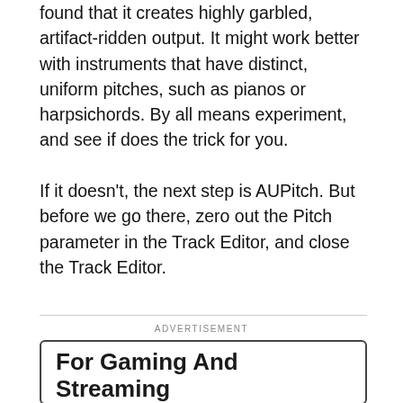found that it creates highly garbled, artifact-ridden output. It might work better with instruments that have distinct, uniform pitches, such as pianos or harpsichords. By all means experiment, and see if does the trick for you.
If it doesn't, the next step is AUPitch. But before we go there, zero out the Pitch parameter in the Track Editor, and close the Track Editor.
ADVERTISEMENT
[Figure (other): Advertisement box with bold heading 'For Gaming And Streaming', subtext 'The Blue Yeti X is a state-of-the-art flagship USB mic for' and a dark arrow button on the right.]